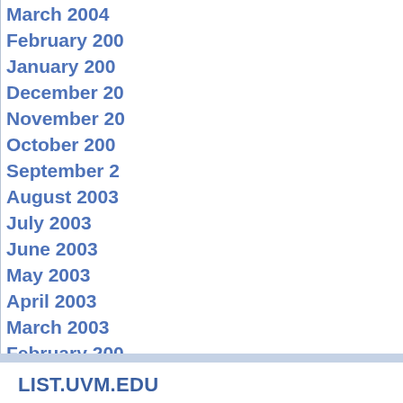March 2004
February 2004
January 2004
December 2003
November 2003
October 2003
September 2003
August 2003
July 2003
June 2003
May 2003
April 2003
March 2003
February 2003
January 2003
December 2002
November 2002
October 2002
September 2002
August 2002
July 2002
June 2002
May 2002
April 2002
LIST.UVM.EDU